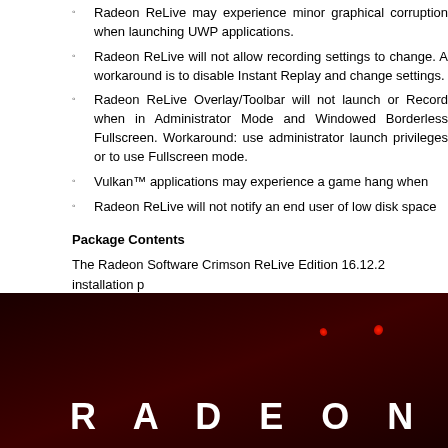Radeon ReLive may experience minor graphical corruption when launching UWP applications.
Radeon ReLive will not allow recording settings to change. A workaround is to disable Instant Replay and change settings.
Radeon ReLive Overlay/Toolbar will not launch or Record when in Administrator Mode and Windowed Borderless Fullscreen. Workaround: use administrator launch privileges or to use Fullscreen mode.
Vulkan™ applications may experience a game hang when...
Radeon ReLive will not notify an end user of low disk space...
Package Contents
The Radeon Software Crimson ReLive Edition 16.12.2 installation p...
Radeon Software Crimson ReLive Edition 16.12.2 Driver V...
[Figure (photo): Dark red AMD Radeon branded image with RADEON text in white at the bottom and small red decorative dots]